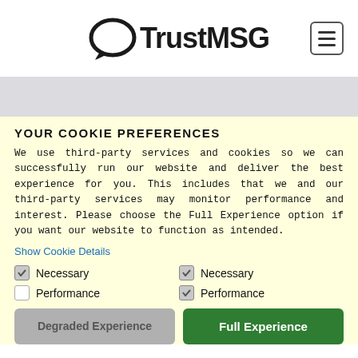[Figure (logo): TrustMSG logo with speech bubble icon and hamburger menu button]
YOUR COOKIE PREFERENCES
We use third-party services and cookies so we can successfully run our website and deliver the best experience for you. This includes that we and our third-party services may monitor performance and interest. Please choose the Full Experience option if you want our website to function as intended.
Show Cookie Details
Necessary (checked) — left column
Performance (unchecked) — left column
Necessary (checked) — right column
Performance (checked) — right column
Degraded Experience
Full Experience